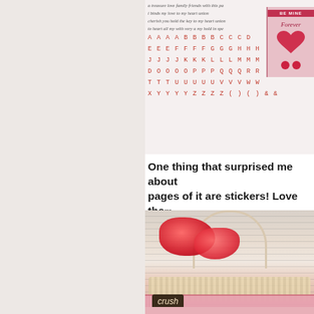[Figure (photo): Close-up photo of a Valentine's Day sticker sheet showing red alphabet letters and a pink/red Valentine card with 'BE MINE' and 'Forever' text visible on the right side]
One thing that surprised me about pages of it are stickers! Love the
[Figure (photo): Photo of a decorative Valentine's Day basket/box with a wire handle, filled with red sugared candy hearts, with a dark gift tag labeled 'crush' and pink scalloped edges, set against a newspaper/text background]